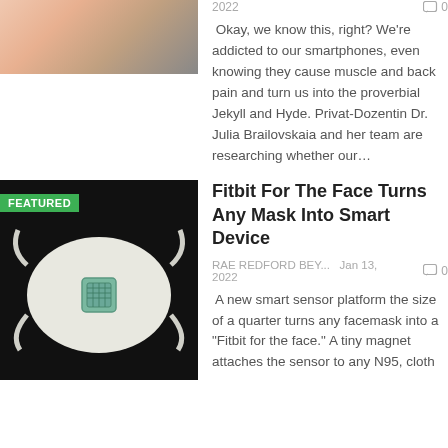[Figure (photo): Partial image of a smartphone with apps visible, pink background]
2022
0
Okay, we know this, right? We're addicted to our smartphones, even knowing they cause muscle and back pain and turn us into the proverbial Jekyll and Hyde. Privat-Dozentin Dr. Julia Brailovskaia and her team are researching whether our…
[Figure (photo): White N95 face mask with a small circuit board sensor attached, on black background, with FEATURED badge]
Fitbit For The Face Turns Any Mask Into Smart Device
RAE REDFORD BEY...   Jan 13, 2022   0
A new smart sensor platform the size of a quarter turns any facemask into a "Fitbit for the face." A tiny magnet attaches the sensor to any N95, cloth